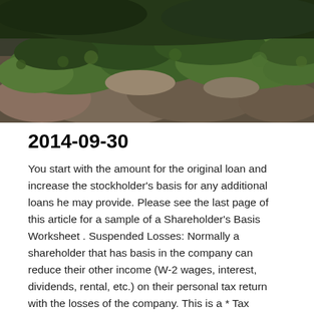[Figure (photo): Overhead photo of mossy rocks and green vegetation in a natural outdoor setting]
2014-09-30
You start with the amount for the original loan and increase the stockholder's basis for any additional loans he may provide. Please see the last page of this article for a sample of a Shareholder's Basis Worksheet . Suspended Losses: Normally a shareholder that has basis in the company can reduce their other income (W-2 wages, interest, dividends, rental, etc.) on their personal tax return with the losses of the company. This is a * Tax Exempt Interest increases shareholder basis. Basis is increased by this amount to preserve the nature